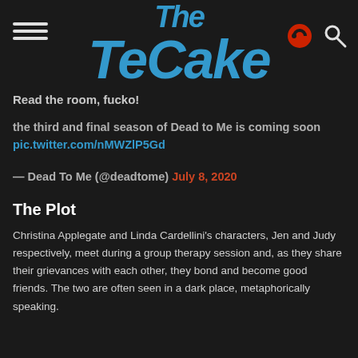The TeCake
Read the room, fucko!
the third and final season of Dead to Me is coming soon pic.twitter.com/nMWZlP5Gd
— Dead To Me (@deadtome) July 8, 2020
The Plot
Christina Applegate and Linda Cardellini's characters, Jen and Judy respectively, meet during a group therapy session and, as they share their grievances with each other, they bond and become good friends. The two are often seen in a dark place, metaphorically speaking.